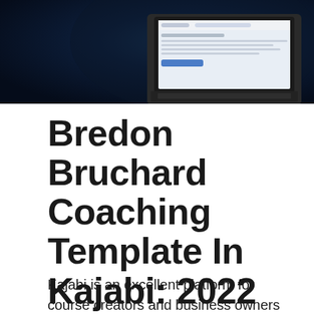[Figure (photo): A laptop computer with a screen showing a website interface, set against a dark blue/black background. The laptop is photographed from a slightly elevated angle, showing the keyboard and display.]
Bredon Bruchard Coaching Template In Kajabi: 2022 Kajabi Review
Kajabi is an excellent platform for course creators and business owners that need to control course content as well as marketing